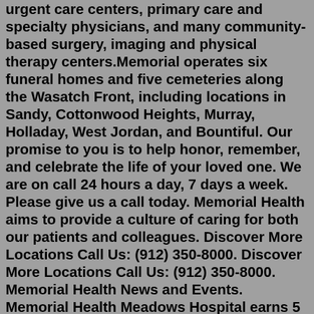urgent care centers, primary care and specialty physicians, and many community-based surgery, imaging and physical therapy centers.Memorial operates six funeral homes and five cemeteries along the Wasatch Front, including locations in Sandy, Cottonwood Heights, Murray, Holladay, West Jordan, and Bountiful. Our promise to you is to help honor, remember, and celebrate the life of your loved one. We are on call 24 hours a day, 7 days a week. Please give us a call today. Memorial Health aims to provide a culture of caring for both our patients and colleagues. Discover More Locations Call Us: (912) 350-8000. Discover More Locations Call Us: (912) 350-8000. Memorial Health News and Events. Memorial Health Meadows Hospital earns 5 stars from CMS...Momrial momrjal momrkal momrlal momrmal momrnal momroal momrpal momrqal momrral momrsal momrtal momrual momrval momrwal momrxal...Synonyms for MEMORIAL: commemorating, commemorative, honorary, memorializing, keepsake, memento, monument,